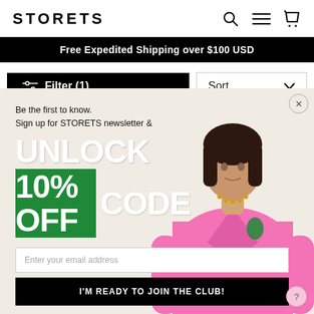[Figure (logo): STORETS brand logo in uppercase bold sans-serif lettering]
Free Expedited Shipping over $100 USD
Filter (1)
Sort
[Figure (screenshot): Newsletter signup popup modal over a beige background. Left side contains text: 'Be the first to know. Sign up for STORETS newsletter &' followed by large bold text 'UNLOCK' in white and '10% OFF' in green box and 'CODE' in white. Below is an email input field, a black button 'I'M READY TO JOIN THE CLUB!', and 'NO THANKS' link. Right side shows a woman in a pink blazer with green accessories. A close button (X) is in top right corner. A pink circular help button is in bottom right.]